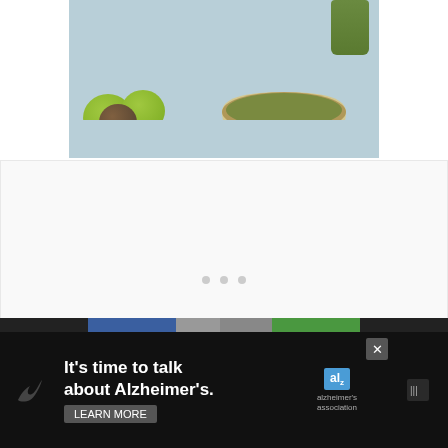[Figure (photo): Photo of green tomatillos/tomatoes next to a ceramic bowl with salsa, and a jar in the background, on a blue surface]
[Figure (screenshot): White content area with three gray loading dots in the center, a blue heart/like button, a count showing 1, and a share button on the right side]
[Figure (screenshot): Alzheimer's Association advertisement banner: 'It's time to talk about Alzheimer's.' with LEARN MORE button and Alzheimer's Association logo on dark background]